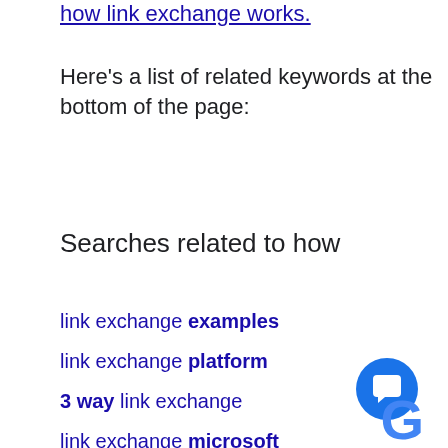how link exchange works.
Here's a list of related keywords at the bottom of the page:
Searches related to how
link exchange examples
link exchange platform
3 way link exchange
link exchange microsoft
[Figure (illustration): Blue circular chat widget button with white chat bubble icon, and partial Google 'G' logo at bottom right]